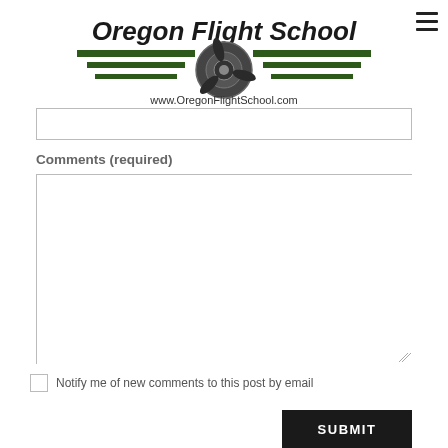[Figure (logo): Oregon Flight School logo with airplane propeller graphic and text 'Oregon Flight School' and 'www.OregonFlightSchool.com']
Comments (required)
Notify me of new comments to this post by email
SUBMIT